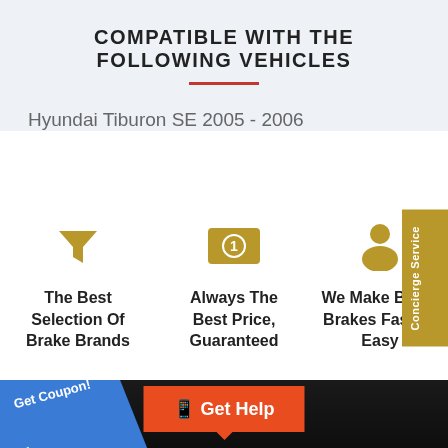COMPATIBLE WITH THE FOLLOWING VEHICLES
Hyundai Tiburon SE 2005 - 2006
[Figure (infographic): Three feature icons with labels: funnel icon - The Best Selection Of Brake Brands; dollar bill icon - Always The Best Price, Guaranteed; person icon - We Make Buying Brakes Fast and Easy]
[Figure (infographic): Bottom dark banner with blue angled coupon tab saying Get Coupon! with arrow, text R OUR C, and orange Get Help button with phone icon and tooltip arrow]